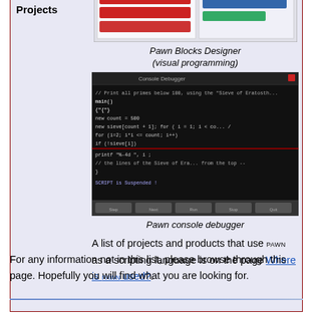[Figure (screenshot): Documentation extracted generated by the compiler - screenshot of a document window]
Documentation extracted generated by the compiler
[Figure (screenshot): Pawn Blocks Designer visual programming interface screenshot]
Pawn Blocks Designer (visual programming)
[Figure (screenshot): Pawn console debugger - dark terminal showing debugger output]
Pawn console debugger
Projects	A list of projects and products that use PAWN as a scripting language is on the page Where is PAWN used?.
For any information not in this list, please browse through this page. Hopefully you will find what you are looking for.